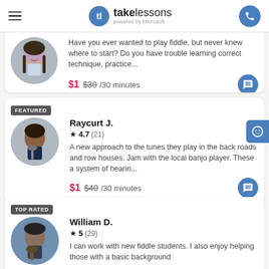takelessons powered by Microsoft
[Figure (screenshot): Partial instructor card at top — female instructor with braids, photo cropped. Text: Have you ever wanted to play fiddle, but never knew where to start? Do you have trouble learning correct technique, practice... Price: $1 (was $30) /30 minutes]
[Figure (screenshot): Instructor card: Raycurt J., rating 4.7 (21 reviews), FEATURED badge. Description: A new approach to the tunes they play in the back roads and row houses. Jam with the local banjo player. These a system of hearin... Price: $1 (was $40) /30 minutes]
[Figure (screenshot): Instructor card: William D., rating 5 (29 reviews), TOP RATED badge. Description: I can work with new fiddle students. I also enjoy helping those with a basic background]